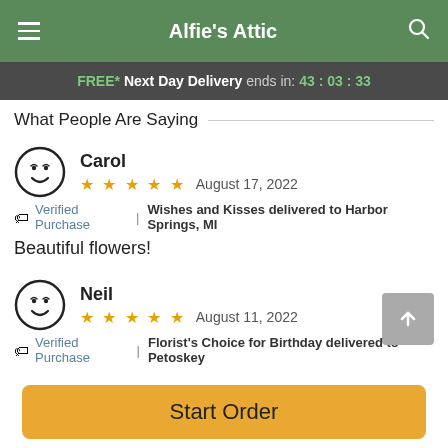Alfie's Attic
FREE* Next Day Delivery ends in: 43 : 03 : 33
What People Are Saying
Carol
★★★★★  August 17, 2022
🏷 Verified Purchase | Wishes and Kisses delivered to Harbor Springs, MI
Beautiful flowers!
Neil
★★★★★  August 11, 2022
🏷 Verified Purchase | Florist's Choice for Birthday delivered to Petoskey
Start Order